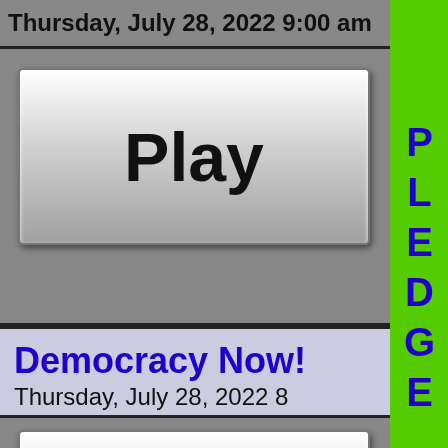Thursday, July 28, 2022 9:00 am
[Figure (screenshot): Play button (gradient white to gray, black text 'Play')]
[Figure (screenshot): PLEDGE vertical green button with blue text]
Democracy Now!
Thursday, July 28, 2022 8
[Figure (screenshot): Play button (gradient white to gray, black text 'Play')]
[Figure (screenshot): PAUSE vertical gray button with white text]
Sojourner Truth